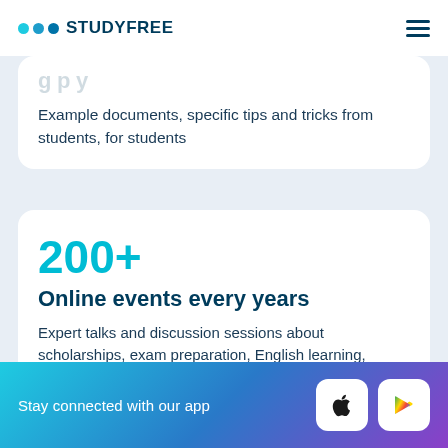STUDYFREE
Example documents, specific tips and tricks from students, for students
200+
Online events every years
Expert talks and discussion sessions about scholarships, exam preparation, English learning,
Stay connected with our app